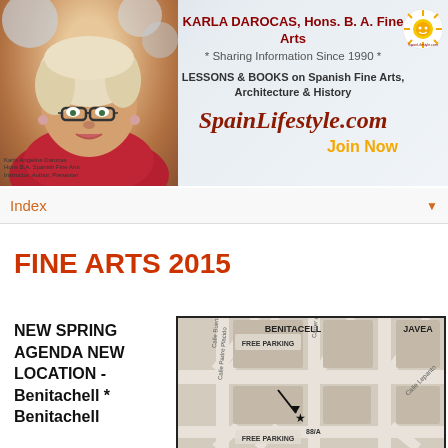[Figure (illustration): Banner ad for SpainLifestyle.com featuring a woman's photo on the left, and text: KARLA DAROCAS, Hons. B. A. Fine Arts * Sharing Information Since 1990 *, LESSONS & BOOKS on Spanish Fine Arts, Architecture & History, SpainLifestyle.com, Join Now, and a sun logo.]
Index
FINE ARTS 2015
NEW SPRING AGENDA NEW LOCATION - Benitachell * Benitachell
[Figure (map): Street map showing Benitacell area with labels: BENITACELL, JAVEA, FREE PARKING, Calle Padre Placido, Calle Lepanto, Carrer del Mo, Calle Buenos, and a star marker at 88/A with an arrow pointing to it.]